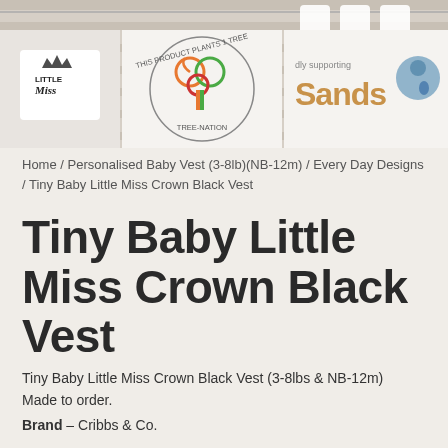[Figure (photo): Header image showing baby vests hanging on a clothesline with wood background, a baby onesie with 'Little Miss' text, Tree-Nation logo (This Product Plants 1 Tree), and Sands charity logo (proudly supporting)]
Home / Personalised Baby Vest (3-8lb)(NB-12m) / Every Day Designs / Tiny Baby Little Miss Crown Black Vest
Tiny Baby Little Miss Crown Black Vest
Tiny Baby Little Miss Crown Black Vest (3-8lbs & NB-12m)
Made to order.
Brand – Cribbs & Co.